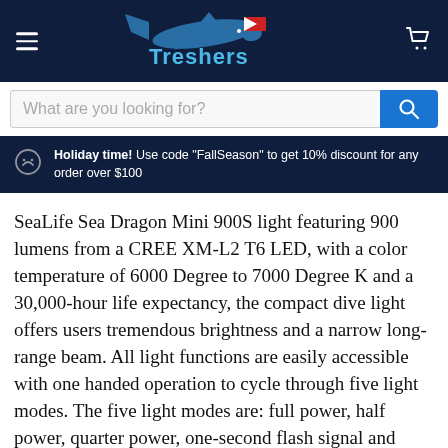Treshers
What are you looking for?
Holiday time! Use code "FallSeason" to get 10% discount for any order over $100
SeaLife Sea Dragon Mini 900S light featuring 900 lumens from a CREE XM-L2 T6 LED, with a color temperature of 6000 Degree to 7000 Degree K and a 30,000-hour life expectancy, the compact dive light offers users tremendous brightness and a narrow long-range beam. All light functions are easily accessible with one handed operation to cycle through five light modes. The five light modes are: full power, half power, quarter power, one-second flash signal and emergency SOS signal, both at full power.
The light serves as a primary dive light or as a back-up light